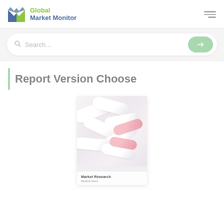[Figure (logo): Global Market Monitor logo with stylized M icon in blue/green and text 'Global Market Monitor']
[Figure (screenshot): Search bar with search icon and placeholder text 'Search...' and a green arrow button]
Report Version Choose
[Figure (photo): Market Research report cover showing white and pink pharmaceutical pills/capsules with 'Market Research' label at bottom]